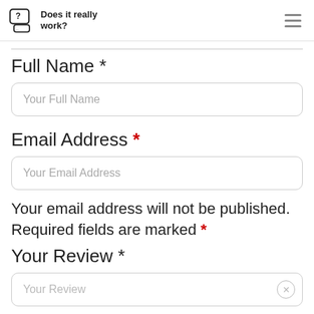Does it really work?
Full Name *
Your Full Name
Email Address *
Your Email Address
Your email address will not be published. Required fields are marked *
Your Review *
Your Review